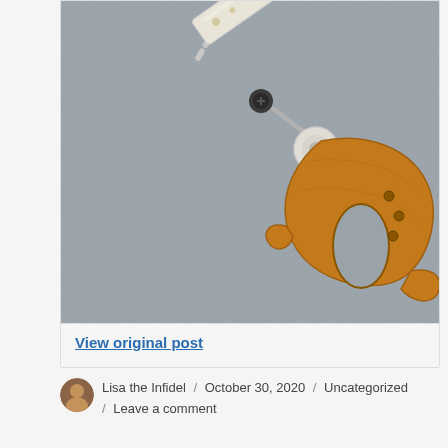[Figure (photo): A vintage or antique mechanical tool/device resembling a small hand saw or cutting implement with a wooden handle (orange-brown), metal components, and a chain, laid on a gray fabric background.]
View original post
Lisa the Infidel / October 30, 2020 / Uncategorized / Leave a comment